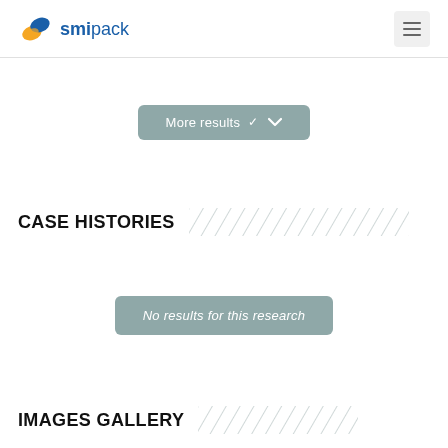smipack
More results ∨
CASE HISTORIES
No results for this research
IMAGES GALLERY